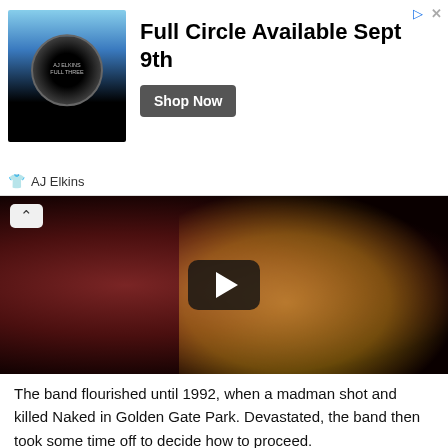[Figure (screenshot): Advertisement banner: album art image on left with circular dark design, bold text 'Full Circle Available Sept 9th', 'Shop Now' button, AJ Elkins branding below]
[Figure (screenshot): Video thumbnail showing a dark, blurry image of a person performing, with a YouTube-style play button overlay and an up-arrow collapse button]
The band flourished until 1992, when a madman shot and killed Naked in Golden Gate Park. Devastated, the band then took some time off to decide how to proceed.
Fortuitously, a stroke of good luck happened when Gates happened to be in the same bar as Van Morrison and was introduced by a mutual friend. Morrison made the generous proposal that Pearl Harbor and the Explosions join the bill for